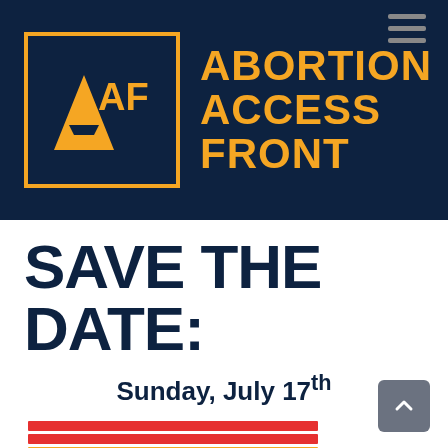[Figure (logo): Abortion Access Front logo: dark navy background with an orange boxed AAF logo mark and bold orange text reading ABORTION ACCESS FRONT]
SAVE THE DATE:
Sunday, July 17th
[Figure (illustration): Decorative horizontal stripes in red, gold/orange, and teal colors]